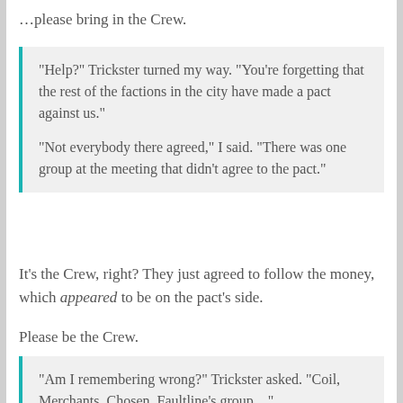…please bring in the Crew.
“Help?” Trickster turned my way.  “You’re forgetting that the rest of the factions in the city have made a pact against us.”

“Not everybody there agreed,” I said.  “There was one group at the meeting that didn’t agree to the pact.”
It’s the Crew, right? They just agreed to follow the money, which appeared to be on the pact’s side.
Please be the Crew.
“Am I remembering wrong?”  Trickster asked.  “Coil, Merchants, Chosen, Faultline’s group…”